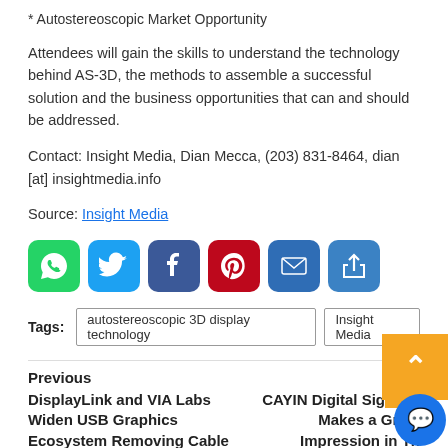* Autostereoscopic Market Opportunity
Attendees will gain the skills to understand the technology behind AS-3D, the methods to assemble a successful solution and the business opportunities that can and should be addressed.
Contact: Insight Media, Dian Mecca, (203) 831-8464, dian [at] insightmedia.info
Source: Insight Media
[Figure (other): Social sharing icons: WhatsApp, Twitter, Facebook, Pinterest, Email, Share]
Tags: autostereoscopic 3D display technology | Insight Media
Previous
DisplayLink and VIA Labs Widen USB Graphics Ecosystem Removing Cable Length Limitations and Increasing Client Bandwidth
Next
CAYIN Digital Signage Makes a Great Impression in Th...